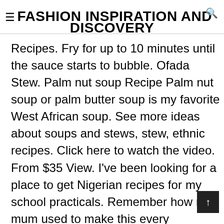≡FASHION INSPIRATION AND DISCOVERY
Recipes. Fry for up to 10 minutes until the sauce starts to bubble. Ofada Stew. Palm nut soup Recipe Palm nut soup or palm butter soup is my favorite West African soup. See more ideas about soups and stews, stew, ethnic recipes. Click here to watch the video. From $35 View. I've been looking for a place to get Nigerian recipes for my school practicals. Remember how my mum used to make this every Saturday morning for breakfast....good times. Nigerian bitter leaf soup is very popular...